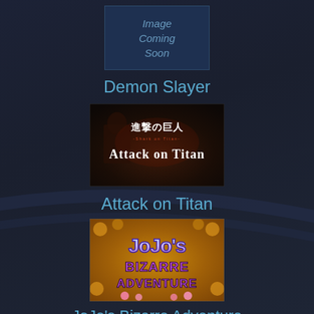[Figure (illustration): Image Coming Soon placeholder box with dark blue background and italic text]
Demon Slayer
[Figure (illustration): Attack on Titan anime title card showing Japanese characters 進撃の巨人 and Attack on Titan logo with dark dramatic background]
Attack on Titan
[Figure (illustration): JoJo's Bizarre Adventure logo with colorful gold and purple stylized text on decorative background]
JoJo's Bizarre Adventure